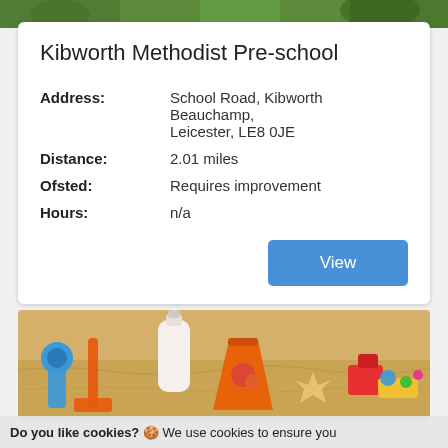[Figure (photo): Partial top image showing green outdoor scene]
Kibworth Methodist Pre-school
| Address: | School Road, Kibworth Beauchamp, Leicester, LE8 0JE |
| Distance: | 2.01 miles |
| Ofsted: | Requires improvement |
| Hours: | n/a |
[Figure (photo): Beach scene with colorful children's toys (orange bucket, blue spade, sunscreen bottle, starfish) in sand]
Do you like cookies? 🍪 We use cookies to ensure you